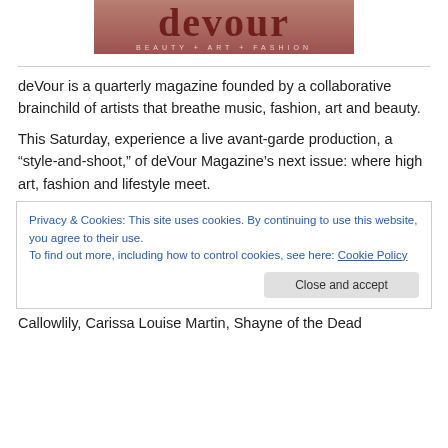[Figure (logo): deVour magazine logo — large stylized 'devour' text in dark red/maroon with tagline 'BEAUTY + ART + FASHION' below, on a close-up photo background]
deVour is a quarterly magazine founded by a collaborative brainchild of artists that breathe music, fashion, art and beauty.
This Saturday, experience a live avant-garde production, a “style-and-shoot,” of deVour Magazine’s next issue: where high art, fashion and lifestyle meet.
Privacy & Cookies: This site uses cookies. By continuing to use this website, you agree to their use.
To find out more, including how to control cookies, see here: Cookie Policy
Callowlily, Carissa Louise Martin, Shayne of the Dead